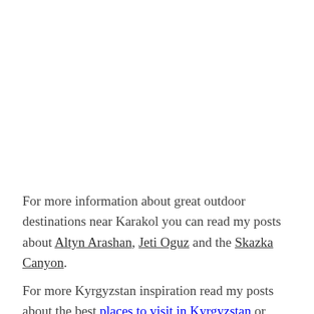For more information about great outdoor destinations near Karakol you can read my posts about Altyn Arashan, Jeti Oguz and the Skazka Canyon.
For more Kyrgyzstan inspiration read my posts about the best places to visit in Kyrgyzstan or